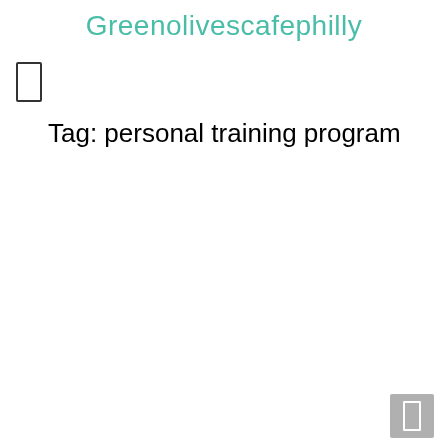Greenolivescafephilly
Tag: personal training program